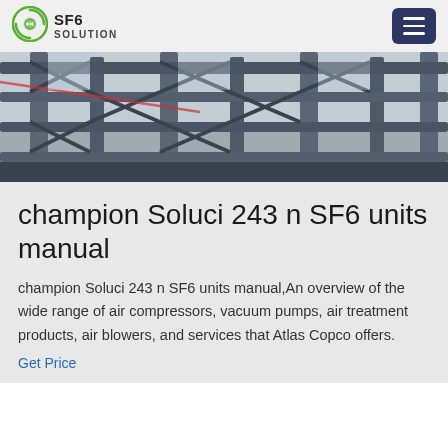SF6 SOLUTION
[Figure (photo): Industrial equipment photo showing metal scaffolding or framework structure viewed from below at an angle, grey/blue tones]
champion Soluci 243 n SF6 units manual
champion Soluci 243 n SF6 units manual,An overview of the wide range of air compressors, vacuum pumps, air treatment products, air blowers, and services that Atlas Copco offers.
Get Price